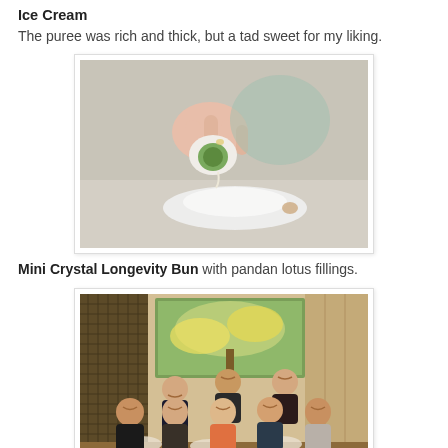Ice Cream
The puree was rich and thick, but a tad sweet for my liking.
[Figure (photo): A hand holding a green-filled dumpling or bun over a white ceramic dish and saucer, with a blurred background showing dishes.]
Mini Crystal Longevity Bun with pandan lotus fillings.
[Figure (photo): A group of seven women seated around a restaurant table, smiling at camera, with a floral painting and wooden panel wall in the background.]
Tasting concludes the restaurant's well-deserved and much...